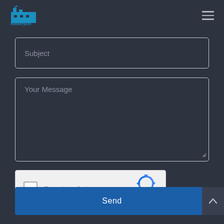[Figure (logo): IndustrySin logo: factory building silhouette icon in teal/cyan with text 'IndustrySin' below]
Subject
Your Message
[Figure (other): reCAPTCHA widget: checkbox with label 'I'm not a robot', reCAPTCHA logo, Privacy and Terms links]
Send